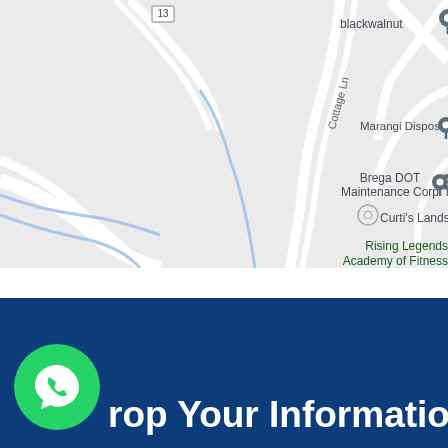[Figure (map): Google Maps screenshot showing a road map area with labels: blackwalnut (with pin), Marangi Disposal (with pin), Brega DOT Maintenance Corp (with pin), Curti's Landscapin[g], Rising Legends Academy of Fitness, Cottage Ln road label, route 13 marker. Roads shown in white and light gray on light background with blue water features.]
[Figure (logo): WhatsApp logo — white phone handset with speech bubble icon on green circle background]
Drop Your Information,